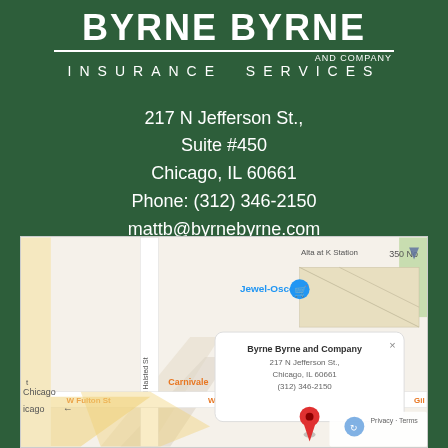BYRNE BYRNE AND COMPANY INSURANCE SERVICES
217 N Jefferson St.,
Suite #450
Chicago, IL 60661
Phone: (312) 346-2150
mattb@byrnebyrne.com
[Figure (map): Google Maps screenshot showing location of Byrne Byrne and Company at 217 N Jefferson St., Chicago, IL 60661 with a red map pin. Info window shows business name, address and phone (312) 346-2150. Nearby landmarks: Jewel-Osco, Carnivale, N Halsted St, W Fulton St, Alta at K Station.]